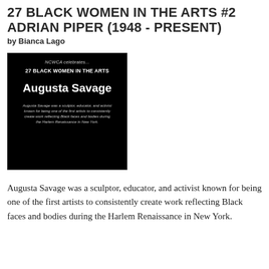27 BLACK WOMEN IN THE ARTS #2 ADRIAN PIPER (1948 - PRESENT)
by Bianca Lago
[Figure (illustration): Black card graphic from NCWCA '27 Black Women in the Arts' series featuring Augusta Savage, with italic subtitle text describing her as a sculptor, educator, and activist known for reflecting Black faces and bodies during the Harlem Renaissance.]
Augusta Savage was a sculptor, educator, and activist known for being one of the first artists to consistently create work reflecting Black faces and bodies during the Harlem Renaissance in New York.